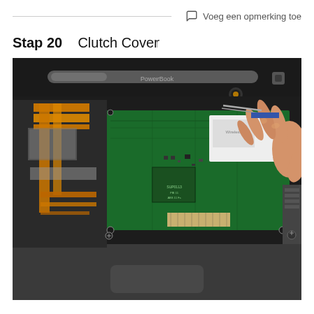Voeg een opmerking toe
Stap 20    Clutch Cover
[Figure (photo): Close-up photo of a PowerBook laptop opened for repair, showing the internal motherboard (green PCB) with orange ribbon cables on the left, a white wireless card, and a person's hand reaching in from the right to work on the clutch cover area near the top of the unit. The clutch cover bar with the power button is visible at the top.]